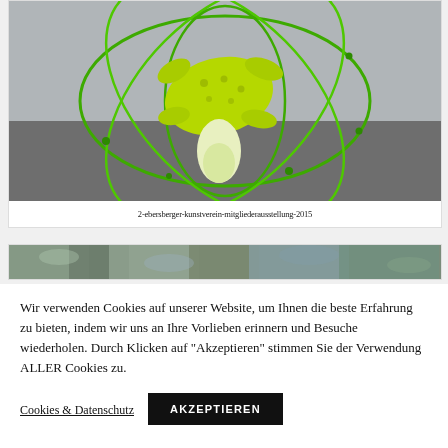[Figure (photo): Photograph of a yellow-green sculptural figure inside a green wire cage/sphere structure, photographed from above on a grey floor]
2-ebersberger-kunstverein-mitgliederausstellung-2015
[Figure (photo): Partial view of a second artwork photograph showing a textured rocky/mossy surface]
Wir verwenden Cookies auf unserer Website, um Ihnen die beste Erfahrung zu bieten, indem wir uns an Ihre Vorlieben erinnern und Besuche wiederholen. Durch Klicken auf "Akzeptieren" stimmen Sie der Verwendung ALLER Cookies zu.
Cookies & Datenschutz
AKZEPTIEREN